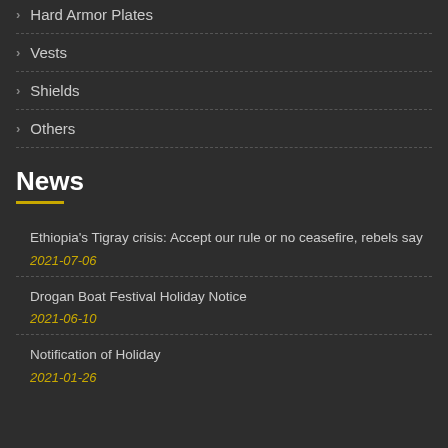Hard Armor Plates
Vests
Shields
Others
News
Ethiopia's Tigray crisis: Accept our rule or no ceasefire, rebels say
2021-07-06
Drogan Boat Festival Holiday Notice
2021-06-10
Notification of Holiday
2021-01-26